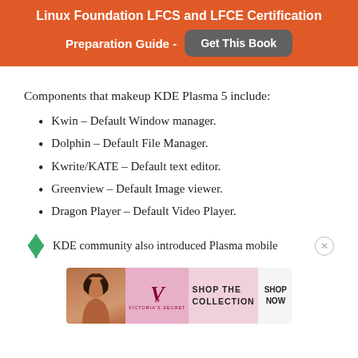Linux Foundation LFCS and LFCE Certification Preparation Guide - Get This Book
Components that makeup KDE Plasma 5 include:
Kwin – Default Window manager.
Dolphin – Default File Manager.
Kwrite/KATE – Default text editor.
Greenview – Default Image viewer.
Dragon Player – Default Video Player.
KDE community also introduced Plasma mobile
[Figure (other): Victoria's Secret advertisement banner showing a model, VS logo, 'SHOP THE COLLECTION' text, and 'SHOP NOW' button]